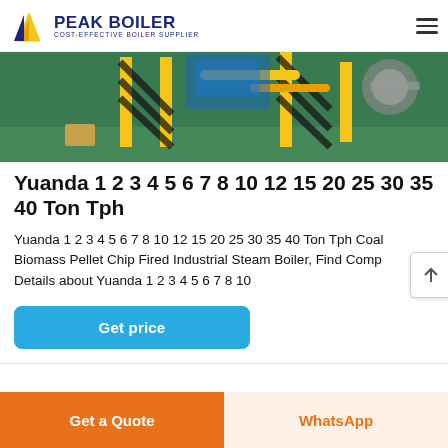PEAK BOILER COST-EFFECTIVE BOILER SUPPLIER
[Figure (photo): Industrial boiler factory floor with yellow machinery, safety stripes, and equipment on a green floor]
Yuanda 1 2 3 4 5 6 7 8 10 12 15 20 25 30 35 40 Ton Tph
Yuanda 1 2 3 4 5 6 7 8 10 12 15 20 25 30 35 40 Ton Tph Coal Biomass Pellet Chip Fired Industrial Steam Boiler, Find Complete Details about Yuanda 1 2 3 4 5 6 7 8 10
Get price
Get a Quote
WhatsApp